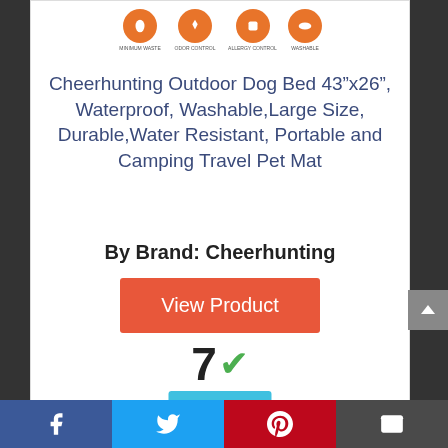[Figure (logo): Four orange circles with icons (product category icons) and small text labels below them]
Cheerhunting Outdoor Dog Bed 43“x26”, Waterproof, Washable,Large Size, Durable,Water Resistant, Portable and Camping Travel Pet Mat
By Brand: Cheerhunting
View Product
7 ✓
Score
[Figure (other): Social sharing footer bar with Facebook, Twitter, Pinterest, and Email icons]